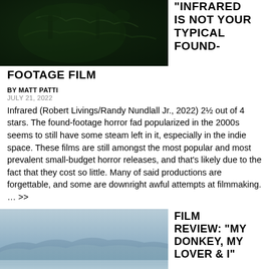[Figure (photo): Dark green-toned horror film still from Infrared, showing figures in shadowy, night-vision style lighting]
"INFRARED IS NOT YOUR TYPICAL FOUND-FOOTAGE FILM
BY MATT PATTI
JULY 21, 2022
Infrared (Robert Livings/Randy Nundlall Jr., 2022) 2½ out of 4 stars. The found-footage horror fad popularized in the 2000s seems to still have some steam left in it, especially in the indie space. These films are still amongst the most popular and most prevalent small-budget horror releases, and that's likely due to the fact that they cost so little. Many of said productions are forgettable, and some are downright awful attempts at filmmaking. … >>
[Figure (photo): Misty mountain landscape with hazy blue-grey hills receding into distance under pale sky]
FILM REVIEW: “MY DONKEY, MY LOVER & I”